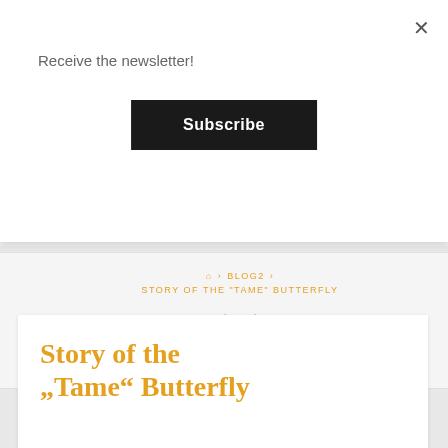×
Receive the newsletter!
Subscribe
⌂ › BLOG2 › STORY OF THE "TAME" BUTTERFLY ← →